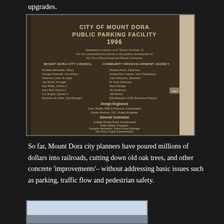upgrades.
[Figure (photo): Bronze dedication plaque reading 'City of Mount Dora Public Parking Facility 1996' with list of city council members, community redevelopment agency members, design engineers, general contractor, and city of Mount Dora staff.]
So far, Mount Dora city planners have poured millions of dollars into railroads, cutting down old oak trees, and other concrete 'improvements'– without addressing basic issues such as parking, traffic flow and pedestrian safety.
[Figure (photo): Partial photo at the bottom of the page, appears to show sky and possibly a building or parking structure.]